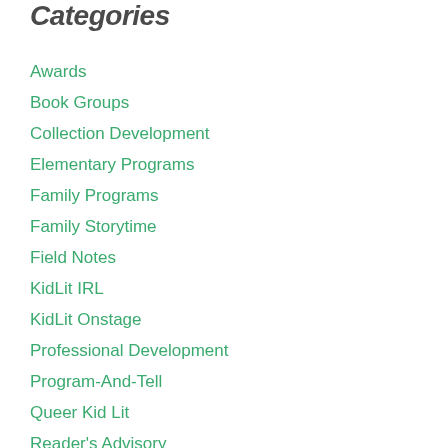Categories
Awards
Book Groups
Collection Development
Elementary Programs
Family Programs
Family Storytime
Field Notes
KidLit IRL
KidLit Onstage
Professional Development
Program-And-Tell
Queer Kid Lit
Reader's Advisory
STEAM Storytime
Storytime
TBR Pile
Tween Programs